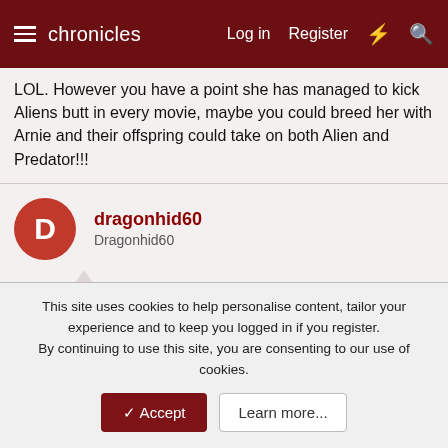chronicles  Log in  Register
LOL. However you have a point she has managed to kick Aliens butt in every movie, maybe you could breed her with Arnie and their offspring could take on both Alien and Predator!!!
dragonhid60
Dragonhid60
Aug 10, 2007  #5
LOL! A factory full of her that would be strange!
khatab
The Hero of Justice
This site uses cookies to help personalise content, tailor your experience and to keep you logged in if you register.
By continuing to use this site, you are consenting to our use of cookies.